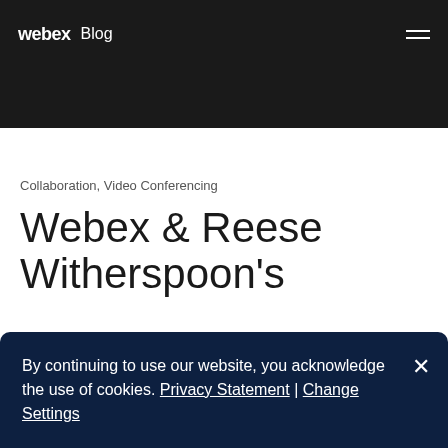webex Blog
Collaboration, Video Conferencing
Webex & Reese Witherspoon's
By continuing to use our website, you acknowledge the use of cookies. Privacy Statement | Change Settings